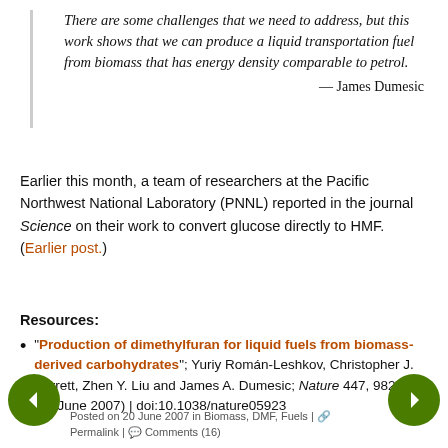There are some challenges that we need to address, but this work shows that we can produce a liquid transportation fuel from biomass that has energy density comparable to petrol.
— James Dumesic
Earlier this month, a team of researchers at the Pacific Northwest National Laboratory (PNNL) reported in the journal Science on their work to convert glucose directly to HMF. (Earlier post.)
Resources:
""Production of dimethylfuran for liquid fuels from biomass-derived carbohydrates"; Yuriy Román-Leshkov, Christopher J. Barrett, Zhen Y. Liu and James A. Dumesic; Nature 447, 982-985 (21 June 2007) | doi:10.1038/nature05923
Posted on 20 June 2007 in Biomass, DMF, Fuels | Permalink | Comments (16)